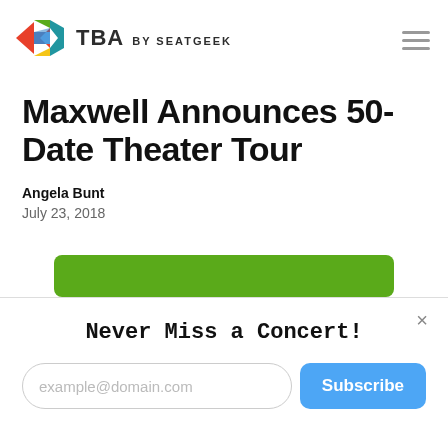TBA BY SEATGEEK
Maxwell Announces 50-Date Theater Tour
Angela Bunt
July 23, 2018
[Figure (other): Green rounded button, partially visible]
Never Miss a Concert!
example@domain.com  Subscribe